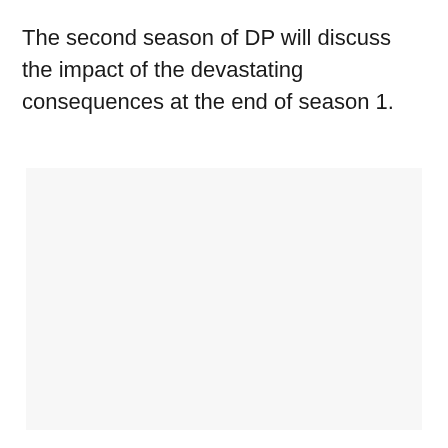The second season of DP will discuss the impact of the devastating consequences at the end of season 1.
[Figure (other): A large light gray/off-white rectangular placeholder image area, nearly empty, with faint small dots or marks near the lower center.]